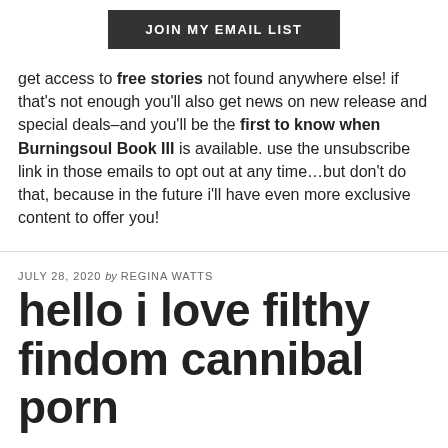[Figure (other): JOIN MY EMAIL LIST button — dark grey rectangular button with white uppercase text]
get access to free stories not found anywhere else! if that's not enough you'll also get news on new release and special deals–and you'll be the first to know when Burningsoul Book III is available. use the unsubscribe link in those emails to opt out at any time...but don't do that, because in the future i'll have even more exclusive content to offer you!
JULY 28, 2020 by REGINA WATTS
hello i love filthy findom cannibal porn